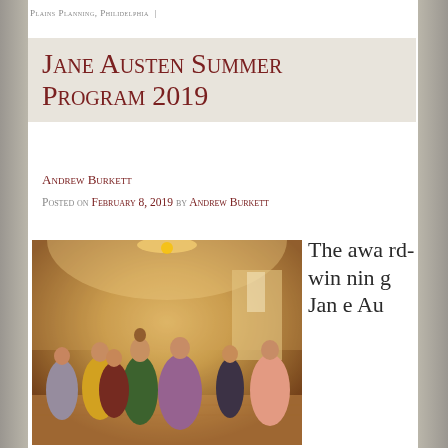PLAINS PLANNING, PHILIDELPHIA
Jane Austen Summer Program 2019
Andrew Burkett
Posted on February 8, 2019 by Andrew Burkett
[Figure (photo): People in Regency-era costumes dancing in a ballroom with warm chandelier lighting]
The award-winning Jane Au